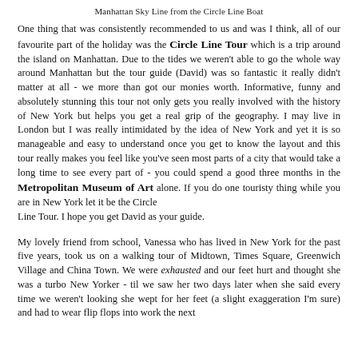Manhattan Sky Line from the Circle Line Boat
One thing that was consistently recommended to us and was I think, all of our favourite part of the holiday was the Circle Line Tour which is a trip around the island on Manhattan. Due to the tides we weren't able to go the whole way around Manhattan but the tour guide (David) was so fantastic it really didn't matter at all - we more than got our monies worth. Informative, funny and absolutely stunning this tour not only gets you really involved with the history of New York but helps you get a real grip of the geography. I may live in London but I was really intimidated by the idea of New York and yet it is so manageable and easy to understand once you get to know the layout and this tour really makes you feel like you've seen most parts of a city that would take a long time to see every part of - you could spend a good three months in the Metropolitan Museum of Art alone. If you do one touristy thing while you are in New York let it be the Circle Line Tour. I hope you get David as your guide.
My lovely friend from school, Vanessa who has lived in New York for the past five years, took us on a walking tour of Midtown, Times Square, Greenwich Village and China Town. We were exhausted and our feet hurt and thought she was a turbo New Yorker - til we saw her two days later when she said every time we weren't looking she wept for her feet (a slight exaggeration I'm sure) and had to wear flip flops into work the next